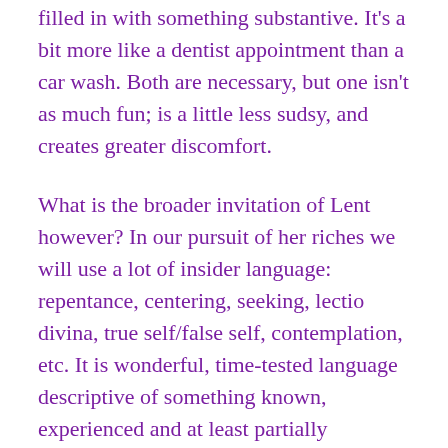filled in with something substantive. It's a bit more like a dentist appointment than a car wash. Both are necessary, but one isn't as much fun; is a little less sudsy, and creates greater discomfort.
What is the broader invitation of Lent however? In our pursuit of her riches we will use a lot of insider language: repentance, centering, seeking, lectio divina, true self/false self, contemplation, etc. It is wonderful, time-tested language descriptive of something known, experienced and at least partially understood – by the convinced.
There is a very real danger in the Christian spiritual formation enterprise that we become